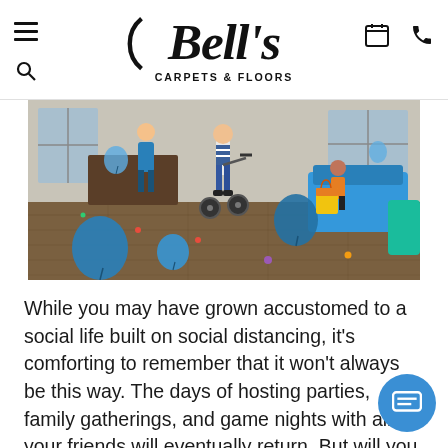Bell's Carpets & Floors — navigation header with hamburger menu, search, calendar, and phone icons
[Figure (photo): A living room scene with children playing, balloons on the floor, a child riding a bike/scooter, hardwood flooring visible, family gathered around the room.]
While you may have grown accustomed to a social life built on social distancing, it's comforting to remember that it won't always be this way. The days of hosting parties, family gatherings, and game nights with all of your friends will eventually return. But will you and your home be ready when they do? Here are four things to consider now so that you're prepared for when you can